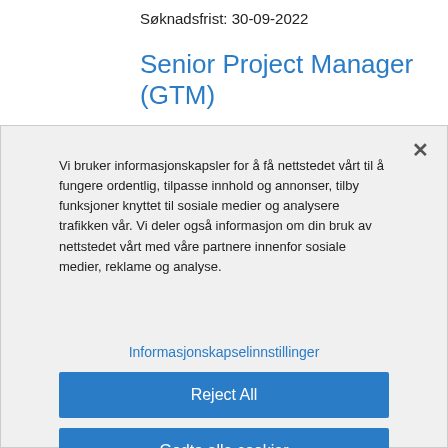Søknadsfrist: 30-09-2022
Senior Project Manager (GTM)
Vi bruker informasjonskapsler for å få nettstedet vårt til å fungere ordentlig, tilpasse innhold og annonser, tilby funksjoner knyttet til sosiale medier og analysere trafikken vår. Vi deler også informasjon om din bruk av nettstedet vårt med våre partnere innenfor sosiale medier, reklame og analyse.
Informasjonskapselinnstillinger
Reject All
Godta alle cookier